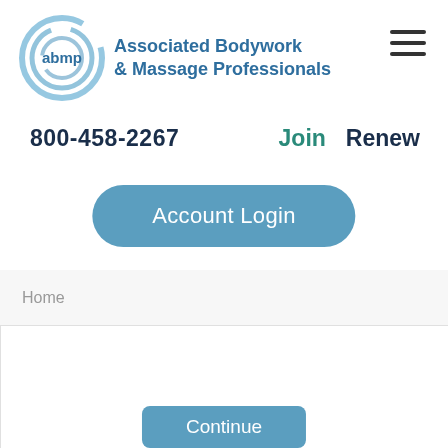[Figure (logo): ABMP logo — circular blue swirl with 'abmp' text inside, alongside 'Associated Bodywork & Massage Professionals' text]
800-458-2267
Join
Renew
Account Login
Home
BENEFITS
Please note: We have recently updated our Privacy Policy and Terms of Use. Learn more...
IRENE DIAMOND'S OCTOBER
COACHING COFFEE FOR
Continue